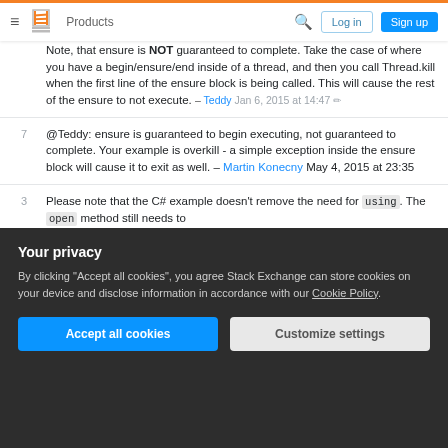≡ [Stack Overflow logo] Products 🔍 Log in Sign up
Note, that ensure is NOT guaranteed to complete. Take the case of where you have a begin/ensure/end inside of a thread, and then you call Thread.kill when the first line of the ensure block is being called. This will cause the rest of the ensure to not execute. – Teddy Jan 6, 2015 at 14:47
7 @Teddy: ensure is guaranteed to begin executing, not guaranteed to complete. Your example is overkill - a simple exception inside the ensure block will cause it to exit as well. – Martin Konecny May 4, 2015 at 23:35
3 Please note that the C# example doesn't remove the need for using. The open method still needs to
Your privacy
By clicking "Accept all cookies", you agree Stack Exchange can store cookies on your device and disclose information in accordance with our Cookie Policy.
Accept all cookies  Customize settings